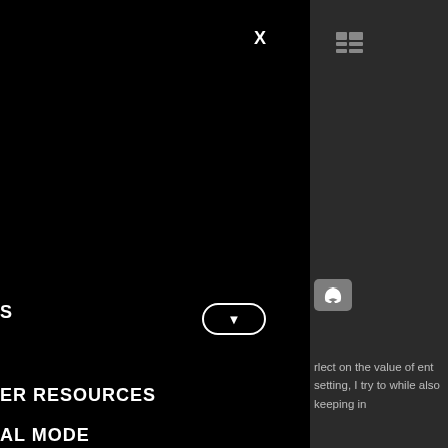[Figure (screenshot): Left navigation panel (black background) showing menu items: S, ER RESOURCES, AL MODE, 'S LEAGUE, M, T US with dropdown toggle buttons and an X close button. Right panel (dark gray) showing a grid icon, Discord icon, text excerpt about reflecting on value in different settings, pink question links about organisation and preferred leagues, and further body text about LG and events.]
S
ER RESOURCES
AL MODE
'S LEAGUE
M
T US
rlect on the value of ent setting, I try to while also keeping in
ith the organisation? you prefer leagues?
LG and everyone in se events work. It is